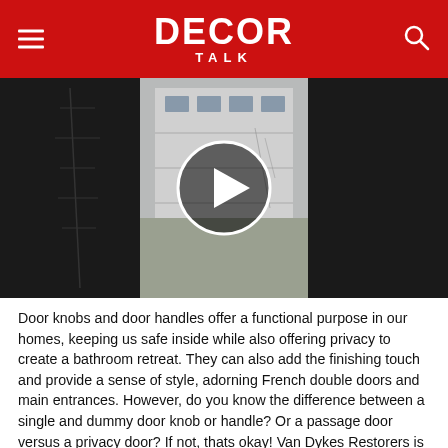DECOR TALK
[Figure (photo): Video thumbnail showing a white garage door from the exterior of a house, with a play button overlay in the center. Darker side panels visible on left and right.]
Door knobs and door handles offer a functional purpose in our homes, keeping us safe inside while also offering privacy to create a bathroom retreat. They can also add the finishing touch and provide a sense of style, adorning French double doors and main entrances. However, do you know the difference between a single and dummy door knob or handle? Or a passage door versus a privacy door? If not, thats okay! Van Dykes Restorers is here to unlock the mysteries of door knobs and handles.